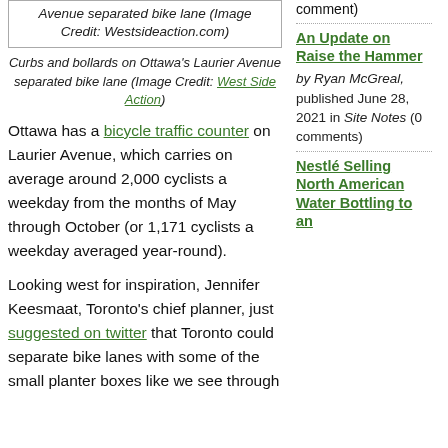Avenue separated bike lane (Image Credit: Westsideaction.com)
Curbs and bollards on Ottawa's Laurier Avenue separated bike lane (Image Credit: West Side Action)
Ottawa has a bicycle traffic counter on Laurier Avenue, which carries on average around 2,000 cyclists a weekday from the months of May through October (or 1,171 cyclists a weekday averaged year-round).
Looking west for inspiration, Jennifer Keesmaat, Toronto's chief planner, just suggested on twitter that Toronto could separate bike lanes with some of the small planter boxes like we see through
comment)
An Update on Raise the Hammer by Ryan McGreal, published June 28, 2021 in Site Notes (0 comments)
Nestlé Selling North American Water Bottling to an